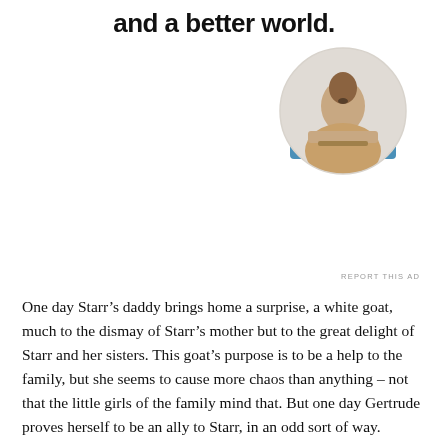and a better world.
[Figure (illustration): Blue 'Apply' button]
[Figure (photo): Circular portrait photo of a young man with glasses looking upward, wearing a beige shirt, sitting at a desk]
REPORT THIS AD
One day Starr’s daddy brings home a surprise, a white goat, much to the dismay of Starr’s mother but to the great delight of Starr and her sisters. This goat’s purpose is to be a help to the family, but she seems to cause more chaos than anything – not that the little girls of the family mind that. But one day Gertrude proves herself to be an ally to Starr, in an odd sort of way.
This story is entertaining and beautifully illustrated.  The fact that Starr Dobson claims that it is a true story makes it even more interesting. Plus, “a portion from the sale of this book will be donated to Special Olympics Nova Scotia.”